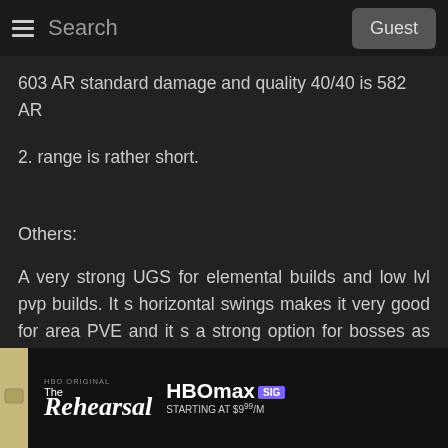≡  Search  Guest
603 AR standard damage and quality 40/40 is 582 AR
2. range is rather short.
Others:
A very strong UGS for elemental builds and low lvl pvp builds. It s horizontal swings makes it very good for area PVE and it s a strong option for bosses as well with right infusions. One of the best UGS in the game for its weight/moveset/elemental damage ratio. It competes very closely with Astora GS, Zweit
[Figure (screenshot): HBO Max advertisement banner for 'The Rehearsal', starting at $9/month]
nage and imo a er better range and moveset